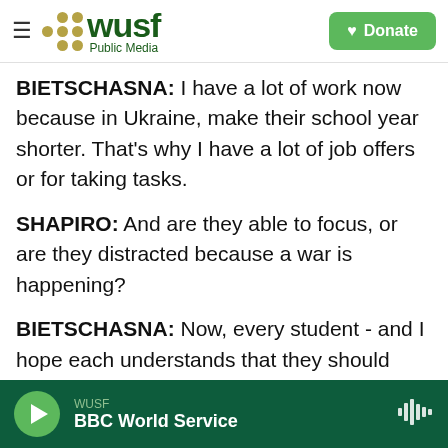WUSF Public Media | Donate
BIETSCHASNA: I have a lot of work now because in Ukraine, make their school year shorter. That's why I have a lot of job offers or for taking tasks.
SHAPIRO: And are they able to focus, or are they distracted because a war is happening?
BIETSCHASNA: Now, every student - and I hope each understands that they should study and be better because we all should rebuild our Ukraine. And in another way, it's time not to be concentrated on the - only on war, destroy and assumption as this. They have some task, what they should to do to be better to be better for themselves, for their
WUSF | BBC World Service